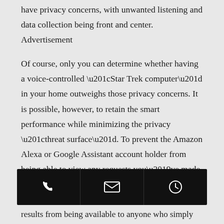have privacy concerns, with unwanted listening and data collection being front and center. Advertisement
Of course, only you can determine whether having a voice-controlled “Star Trek computer” in your home outweighs those privacy concerns. It is possible, however, to retain the smart performance while minimizing the privacy “threat surface”. To prevent the Amazon Alexa or Google Assistant account holder from being able to view any requests you’ve made or questions you’ve asked, you can tell Alexa to “delete what I just said” and Google Assistant to “delete my last conversation”. This does require the account holder to have enabled the “delete by voice” option in their settings, though. If you are the
[Figure (other): Mobile toolbar with three icons: phone, email/envelope, and clock/history, on a black background]
results from being available to anyone who simply